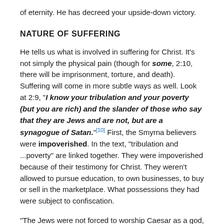of eternity. He has decreed your upside-down victory.
NATURE OF SUFFERING
He tells us what is involved in suffering for Christ. It’s not simply the physical pain (though for some, 2:10, there will be imprisonment, torture, and death). Suffering will come in more subtle ways as well. Look at 2:9, “I know your tribulation and your poverty (but you are rich) and the slander of those who say that they are Jews and are not, but are a synagogue of Satan.”[10] First, the Smyrna believers were impoverished. In the text, “tribulation and ...poverty” are linked together. They were impoverished because of their testimony for Christ. They weren’t allowed to pursue education, to own businesses, to buy or sell in the marketplace. What possessions they had were subject to confiscation.
“The Jews were not forced to worship Caesar as a god, but allowed to offer sacrifices in honor of emperors as rulers and not as gods.... But after the Neronian persecution Christianity